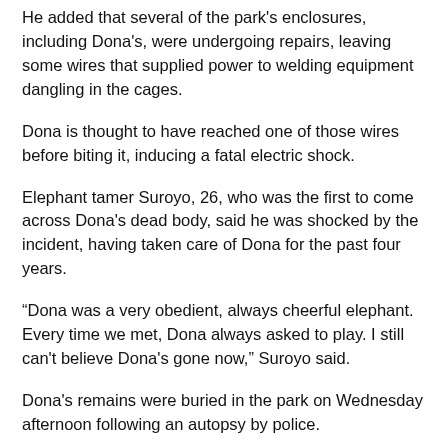He added that several of the park's enclosures, including Dona's, were undergoing repairs, leaving some wires that supplied power to welding equipment dangling in the cages.
Dona is thought to have reached one of those wires before biting it, inducing a fatal electric shock.
Elephant tamer Suroyo, 26, who was the first to come across Dona's dead body, said he was shocked by the incident, having taken care of Dona for the past four years.
“Dona was a very obedient, always cheerful elephant. Every time we met, Dona always asked to play. I still can't believe Dona's gone now,” Suroyo said.
Dona's remains were buried in the park on Wednesday afternoon following an autopsy by police.
Aziz said that with Dona's death, there remained just one elephant in the park.
Estimates put the number of Sumatran elephants left in the